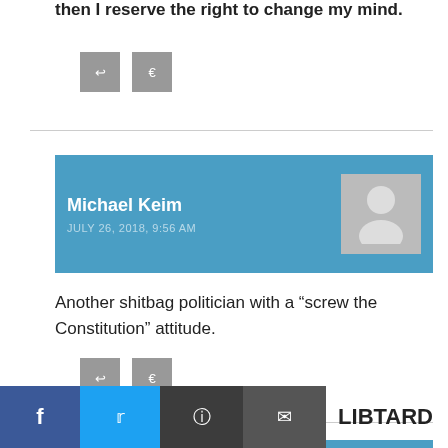then I reserve the right to change my mind.
Michael Keim
JULY 26, 2018, 9:56 AM
Another shitbag politician with a “screw the Constitution” attitude.
jim
JULY 26, 2018, 9:51 AM
LIBTARD